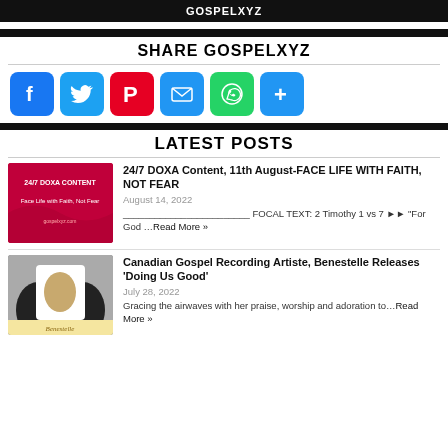GOSPELXYZ
SHARE GOSPELXYZ
[Figure (infographic): Social share icons: Facebook, Twitter, Pinterest, Email, WhatsApp, More]
LATEST POSTS
[Figure (photo): Red banner image with text '24/7 DOXA Content - Face Life with Faith, Not Fear']
24/7 DOXA Content, 11th August-FACE LIFE WITH FAITH, NOT FEAR
August 14, 2022
FOCAL TEXT: 2 Timothy 1 vs 7 ►► "For God …Read More »
[Figure (photo): Benestelle album artwork - Canadian Gospel Recording Artiste]
Canadian Gospel Recording Artiste, Benestelle Releases 'Doing Us Good'
July 28, 2022
Gracing the airwaves with her praise, worship and adoration to...Read More »